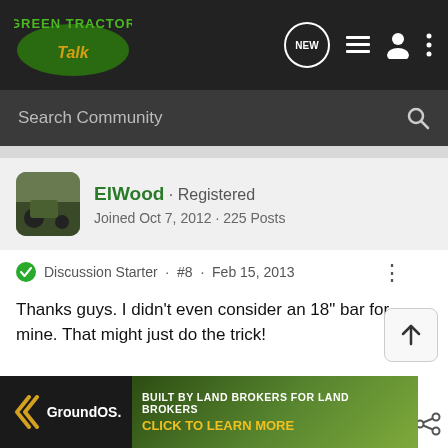[Figure (logo): Green Tractor Talk logo — green oval with yellow 'Talk' script inside, 'GREEN TRACTOR' text above in green on dark background]
Search Community
ElWood · Registered
Joined Oct 7, 2012 · 225 Posts
Discussion Starter · #8 · Feb 15, 2013
Thanks guys. I didn't even consider an 18" bar for mine. That might just do the trick!
[Figure (infographic): GroundOS advertisement banner: 'BUILT BY LAND BROKERS FOR LAND BROKERS — CLICK TO LEARN MORE']